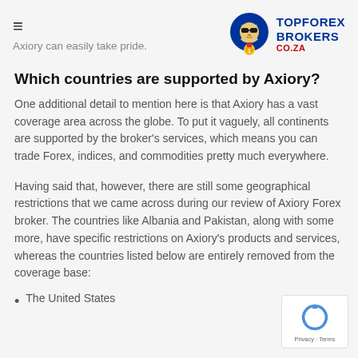Axiory can easily take pride.
Which countries are supported by Axiory?
One additional detail to mention here is that Axiory has a vast coverage area across the globe. To put it vaguely, all continents are supported by the broker's services, which means you can trade Forex, indices, and commodities pretty much everywhere.
Having said that, however, there are still some geographical restrictions that we came across during our review of Axiory Forex broker. The countries like Albania and Pakistan, along with some more, have specific restrictions on Axiory's products and services, whereas the countries listed below are entirely removed from the coverage base:
The United States